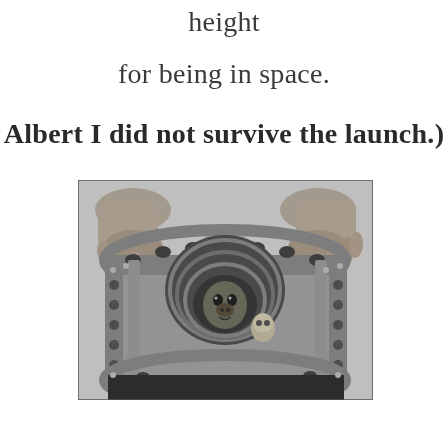height
for being in space.
Albert I did not survive the launch.)
[Figure (photo): Black and white photograph of a monkey (Albert) being placed into a cylindrical metal capsule/container by human hands. The capsule has rivets and holes around its circumference. The monkey's face is visible through a circular opening.]